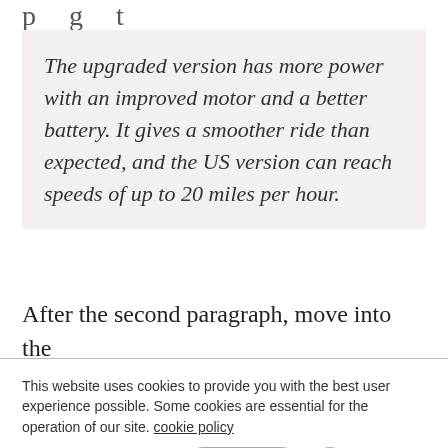p g t
The upgraded version has more power with an improved motor and a better battery. It gives a smoother ride than expected, and the US version can reach speeds of up to 20 miles per hour.
After the second paragraph, move into the
This website uses cookies to provide you with the best user experience possible. Some cookies are essential for the operation of our site. cookie policy